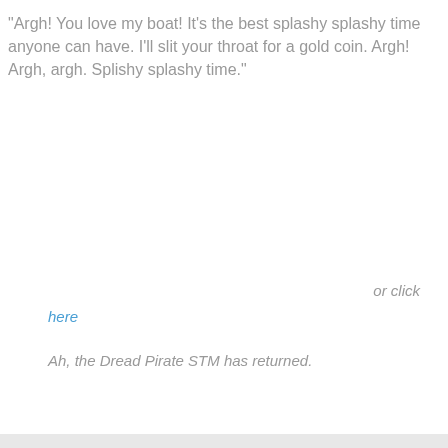"Argh! You love my boat! It's the best splashy splashy time anyone can have. I'll slit your throat for a gold coin. Argh! Argh, argh. Splishy splashy time."
or click here
Ah, the Dread Pirate STM has returned.